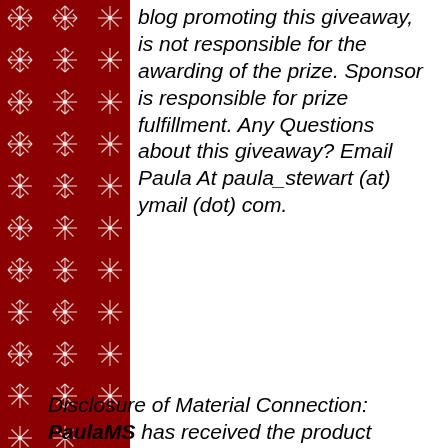[Figure (illustration): Red background with white snowflake pattern forming a decorative sidebar on the left side of the page]
blog promoting this giveaway, is not responsible for the awarding of the prize. Sponsor is responsible for prize fulfillment. Any Questions about this giveaway? Email Paula At paula_stewart (at) ymail (dot) com.
Disclosure of Material Connection: PaulaMS has received the product mentioned above for free to facilitate the writing of a review. *Some of the links on this blog post are affiliate links. This means if you click on the link and purchase the item, I may receive an affiliate commission. Regardless, she only